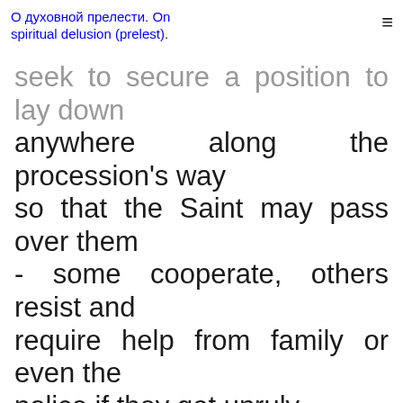О духовной прелести. On spiritual delusion (prelest).
seek to secure a position to lay down anywhere along the procession's way so that the Saint may pass over them - some cooperate, others resist and require help from family or even the police if they get unruly.
Many reported miracles of healing have taken place over the years at